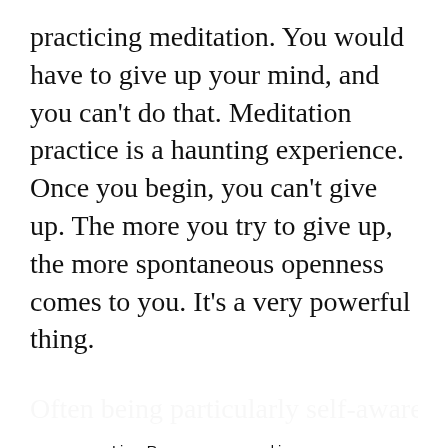practicing meditation. You would have to give up your mind, and you can't do that. Meditation practice is a haunting experience. Once you begin, you can't give up. The more you try to give up, the more spontaneous openness comes to you. It's a very powerful thing.
Often being particularly self-aware for a while
LionsRoar.com uses cookies to provide necessary website functionality, improve your experience and analyze our traffic. By using our website, you agree to our Privacy Policy and our cookies usage.
ACCEPT
DECLINE